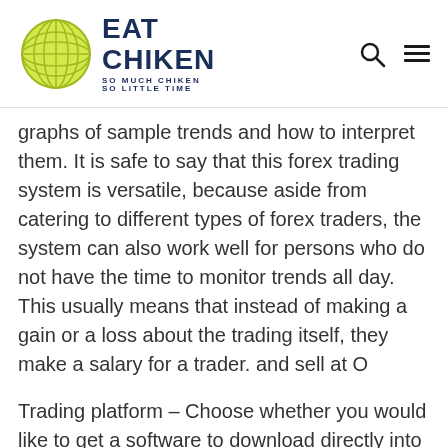EAT CHIKEN — SO MUCH CHIKEN SO LITTLE TIME
graphs of sample trends and how to interpret them. It is safe to say that this forex trading system is versatile, because aside from catering to different types of forex traders, the system can also work well for persons who do not have the time to monitor trends all day. This usually means that instead of making a gain or a loss about the trading itself, they make a salary for a trader. and sell at O
Trading platform – Choose whether you would like to get a software to download directly into your computer or you would want to have an online account where you can log-in and trade regardless of the computer you are using, so long as you have internet connection. Even a century old steam machine could do better. There is a brief lull in trading at certain times while other times are quite